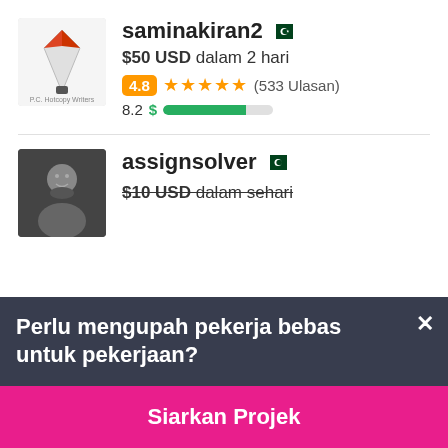saminakiran2
$50 USD dalam 2 hari
4.8 ★★★★★ (533 Ulasan)
8.2
assignsolver
$10 USD dalam sehari
Perlu mengupah pekerja bebas untuk pekerjaan?
Siarkan Projek